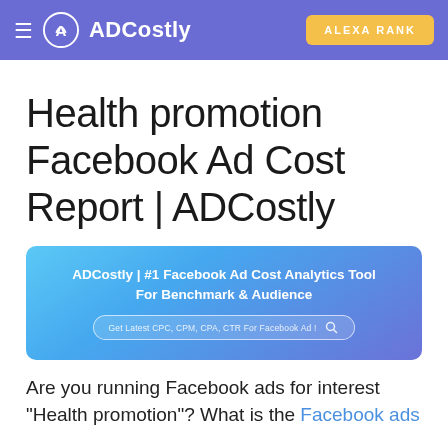≡  ADCostly   ALEXA RANK
Health promotion Facebook Ad Cost Report | ADCostly
[Figure (screenshot): ADCostly banner with gradient blue/purple background showing text: 'ADCostly | #1 Facebook Ad Cost Analytics Tool For Benchmark & Audience' and a search bar with 'Get Latest CPC, CPM, CPA, CTR For Facebook Ad!']
Are you running Facebook ads for interest "Health promotion"? What is the Facebook ads